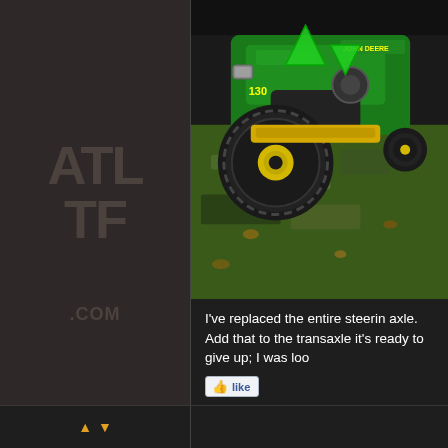[Figure (photo): ATL-TF.COM watermark logo on dark brown/grey background left panel]
[Figure (photo): Green John Deere 130 riding lawn mower on grass, with green triangle navigation arrows overlaid on the image]
I've replaced the entire steerin axle. Add that to the transaxle it's ready to give up; I was loo
[Figure (screenshot): Facebook-style Like button]
▲ ▼ navigation arrows